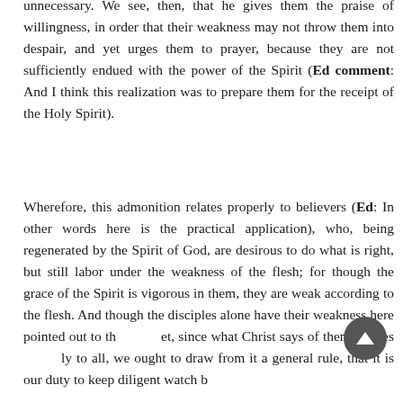unnecessary. We see, then, that he gives them the praise of willingness, in order that their weakness may not throw them into despair, and yet urges them to prayer, because they are not sufficiently endued with the power of the Spirit (Ed comment: And I think this realization was to prepare them for the receipt of the Holy Spirit).
Wherefore, this admonition relates properly to believers (Ed: In other words here is the practical application), who, being regenerated by the Spirit of God, are desirous to do what is right, but still labor under the weakness of the flesh; for though the grace of the Spirit is vigorous in them, they are weak according to the flesh. And though the disciples alone have their weakness here pointed out to them, yet, since what Christ says of them applies equally to all, we ought to draw from it a general rule, that it is our duty to keep diligent watch by...